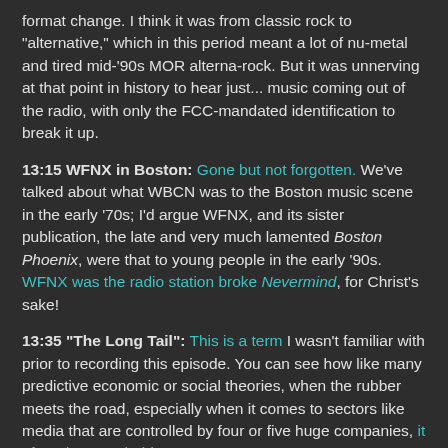format change. I think it was from classic rock to "alternative," which in this period meant a lot of nu-metal and tired mid-'90s MOR alterna-rock. But it was unnerving at that point in history to hear just... music coming out of the radio, with only the FCC-mandated identification to break it up.
13:15 WFNX in Boston: Gone but not forgotten. We've talked about what WBCN was to the Boston music scene in the early '70s; I'd argue WFNX, and its sister publication, the late and very much lamented Boston Phoenix, were that to young people in the early '90s. WFNX was the radio station broke Nevermind, for Christ's sake!
13:35 "The Long Tail": This is a term I wasn't familiar with prior to recording this episode. You can see how like many predictive economic or social theories, when the rubber meets the road, especially when it comes to sectors like media that are controlled by four or five huge companies, it often does not hold up.
14:36 Dumb Starbucks: I will admit, using Nathan For You's "Dumb Starbucks" ploy was pretty thin gruel for relating to